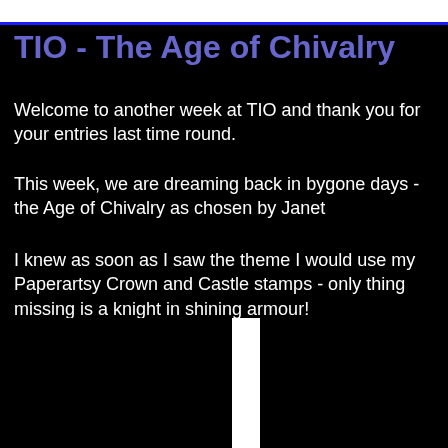TIO - The Age of Chivalry
Welcome to another week at TIO and thank you for your entries last time round.
This week, we are dreaming back in bygone days - the Age of Chivalry as chosen by Janet
I knew as soon as I saw the theme I would use my Paperartsy Crown and Castle stamps - only thing missing is a knight in shining armour!
[Figure (other): White vertical bar on black background, partial image at bottom of page]